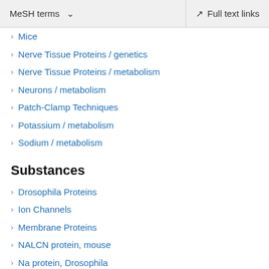MeSH terms   Full text links
Mice
Nerve Tissue Proteins / genetics
Nerve Tissue Proteins / metabolism
Neurons / metabolism
Patch-Clamp Techniques
Potassium / metabolism
Sodium / metabolism
Substances
Drosophila Proteins
Ion Channels
Membrane Proteins
NALCN protein, mouse
Na protein, Drosophila
Nerve Tissue Proteins
Sodium